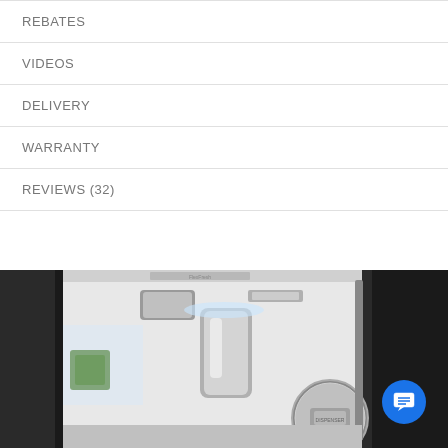REBATES
VIDEOS
DELIVERY
WARRANTY
REVIEWS (32)
[Figure (photo): Close-up photo of a refrigerator interior showing the water and ice dispenser compartment with stainless steel handles and illuminated interior. A circular zoom inset shows a detail of the dispenser control panel.]